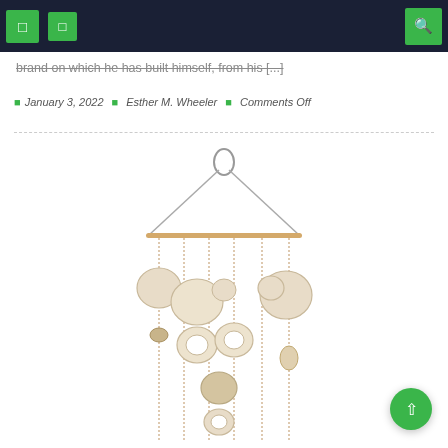Navigation bar with icons
brand on which he has built himself, from his [...]
January 3, 2022  Esther M. Wheeler  Comments Off
[Figure (photo): A decorative wall hanging made of beaded strings with round shell or stone discs in cream/beige tones, suspended from a horizontal rod with a wire loop hanger at the top.]